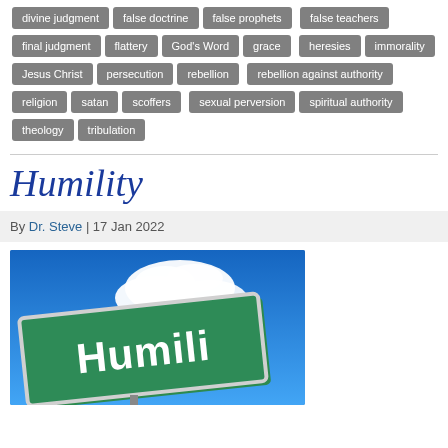divine judgment
false doctrine
false prophets
false teachers
final judgment
flattery
God's Word
grace
heresies
immorality
Jesus Christ
persecution
rebellion
rebellion against authority
religion
satan
scoffers
sexual perversion
spiritual authority
theology
tribulation
Humility
By Dr. Steve | 17 Jan 2022
[Figure (photo): A green street sign reading 'Humility' tilted against a blue sky with clouds]